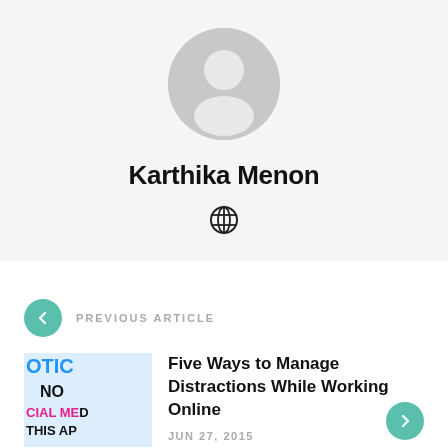[Figure (illustration): Generic user avatar: grey circle with white silhouette of a person (head and shoulders)]
Karthika Menon
[Figure (illustration): Globe/website icon]
PREVIOUS ARTICLE
[Figure (illustration): Thumbnail image showing text: OTIC, NO, SOCIAL MED, THIS AP]
Five Ways to Manage Distractions While Working Online
JUN 27, 2015